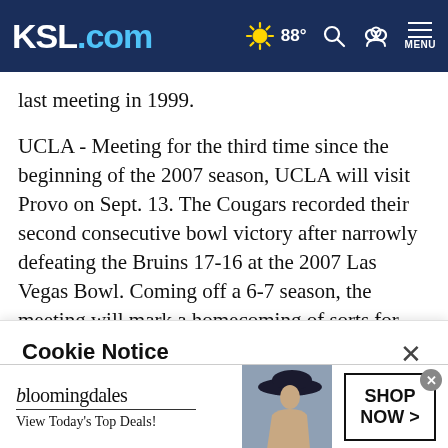KSL.com  ☀ 88°  [search] [account] MENU
last meeting in 1999.
UCLA - Meeting for the third time since the beginning of the 2007 season, UCLA will visit Provo on Sept. 13. The Cougars recorded their second consecutive bowl victory after narrowly defeating the Bruins 17-16 at the 2007 Las Vegas Bowl. Coming off a 6-7 season, the meeting will mark a homecoming of sorts for UCLA offensive coordinator Norm
Cookie Notice
We use cookies to improve your experience, analyze site traffic, and to personalize content and ads. By continuing to use our site, you consent to our use of cookies. Please visit our Terms of Use and  Privacy Policy for more information
[Figure (screenshot): Bloomingdale's advertisement banner with model in hat, 'View Today's Top Deals!' tagline and 'SHOP NOW >' button]